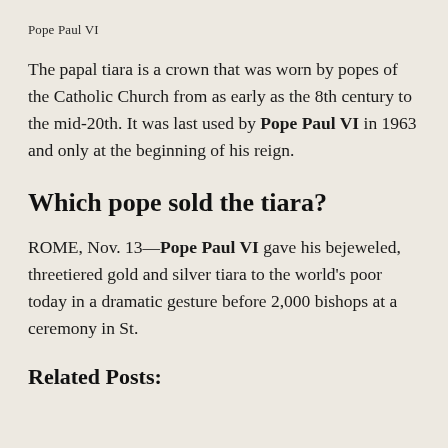Pope Paul VI
The papal tiara is a crown that was worn by popes of the Catholic Church from as early as the 8th century to the mid-20th. It was last used by Pope Paul VI in 1963 and only at the beginning of his reign.
Which pope sold the tiara?
ROME, Nov. 13—Pope Paul VI gave his bejeweled, threetiered gold and silver tiara to the world's poor today in a dramatic gesture before 2,000 bishops at a ceremony in St.
Related Posts: